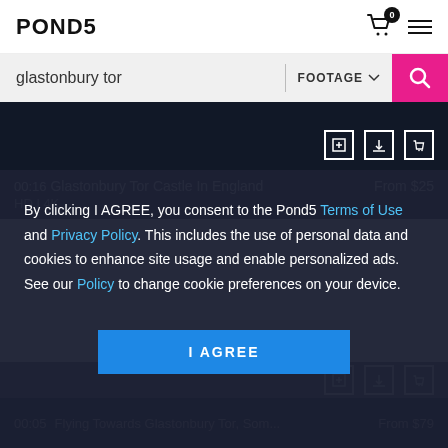[Figure (screenshot): Pond5 logo in top left header]
glastonbury tor
FOOTAGE
[Figure (screenshot): Dark video thumbnail with add, download, cart icons]
00:16  Glastonbury Tor Castle In England  From $25  HD | 4K
By clicking I AGREE, you consent to the Pond5 Terms of Use and Privacy Policy. This includes the use of personal data and cookies to enhance site usage and enable personalized ads. See our Policy to change cookie preferences on your device.
I AGREE
00:05  Flying Towards Glastonbury Tor, Som...  From $79